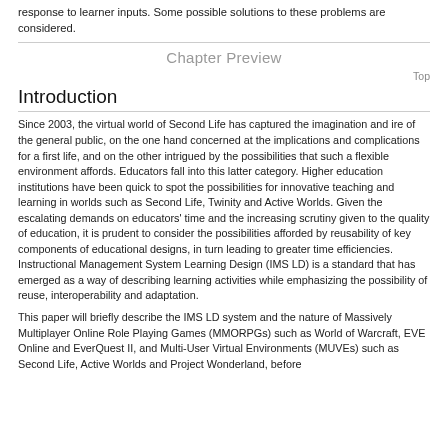response to learner inputs. Some possible solutions to these problems are considered.
Chapter Preview
Top
Introduction
Since 2003, the virtual world of Second Life has captured the imagination and ire of the general public, on the one hand concerned at the implications and complications for a first life, and on the other intrigued by the possibilities that such a flexible environment affords. Educators fall into this latter category. Higher education institutions have been quick to spot the possibilities for innovative teaching and learning in worlds such as Second Life, Twinity and Active Worlds. Given the escalating demands on educators' time and the increasing scrutiny given to the quality of education, it is prudent to consider the possibilities afforded by reusability of key components of educational designs, in turn leading to greater time efficiencies. Instructional Management System Learning Design (IMS LD) is a standard that has emerged as a way of describing learning activities while emphasizing the possibility of reuse, interoperability and adaptation.
This paper will briefly describe the IMS LD system and the nature of Massively Multiplayer Online Role Playing Games (MMORPGs) such as World of Warcraft, EVE Online and EverQuest II, and Multi-User Virtual Environments (MUVEs) such as Second Life, Active Worlds and Project Wonderland, before